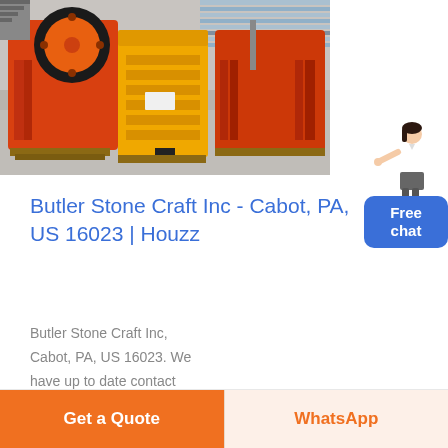[Figure (photo): Industrial stone crushing machinery in orange and yellow colors, stored in a warehouse/factory setting]
[Figure (illustration): Chat widget with a woman figure pointing and a blue button labeled 'Free chat']
Butler Stone Craft Inc - Cabot, PA, US 16023 | Houzz
Butler Stone Craft Inc, Cabot, PA, US 16023. We have up to date contact information for more than 1
Get a Quote
WhatsApp